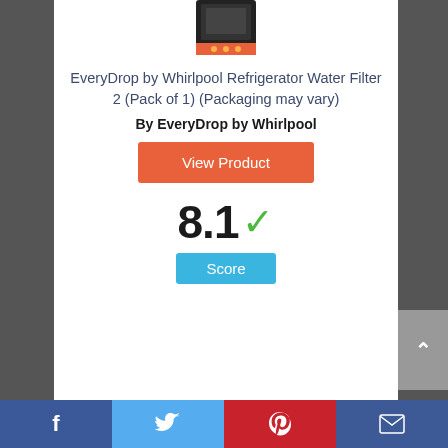[Figure (photo): Product image of EveryDrop by Whirlpool Refrigerator Water Filter, partially visible at top]
EveryDrop by Whirlpool Refrigerator Water Filter 2 (Pack of 1) (Packaging may vary)
By EveryDrop by Whirlpool
View Product
8.1 ✓
Score
[Figure (other): Partial circular score indicator showing number 5, cut off at bottom of page]
Social sharing bar with Facebook, Twitter, Pinterest, and Email icons